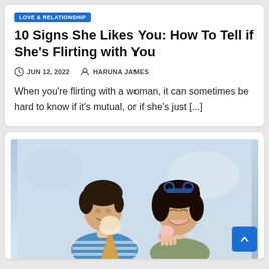LOVE & RELATIONSHIP
10 Signs She Likes You: How To Tell if She's Flirting with You
JUN 12, 2022   HARUNA JAMES
When you're flirting with a woman, it can sometimes be hard to know if it's mutual, or if she's just [...]
[Figure (photo): A man and a woman eating ice cream together and laughing outdoors]